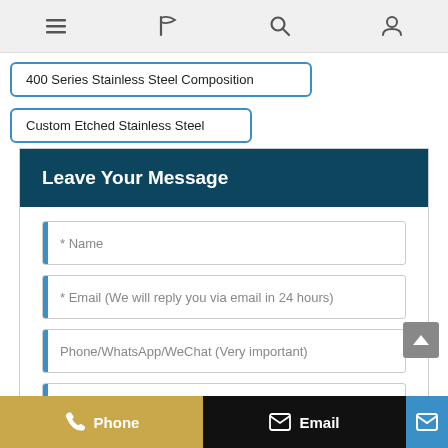Navigation bar with menu, flag, search, and user icons
400 Series Stainless Steel Composition
Custom Etched Stainless Steel
Leave Your Message
* Name
* Email (We will reply you via email in 24 hours)
Phone/WhatsApp/WeChat (Very important)
* Enter product details such as size, color, materials etc. and other specific requirements to receive an accurate
Phone   Email